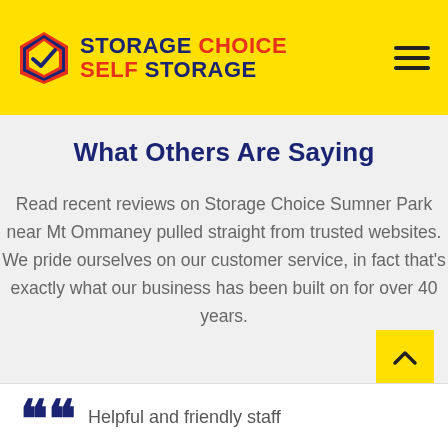[Figure (logo): Storage Choice Self Storage logo with checkmark box icon, yellow header background, hamburger menu icon on right]
What Others Are Saying
Read recent reviews on Storage Choice Sumner Park near Mt Ommaney pulled straight from trusted websites. We pride ourselves on our customer service, in fact that's exactly what our business has been built on for over 40 years.
Helpful and friendly staff